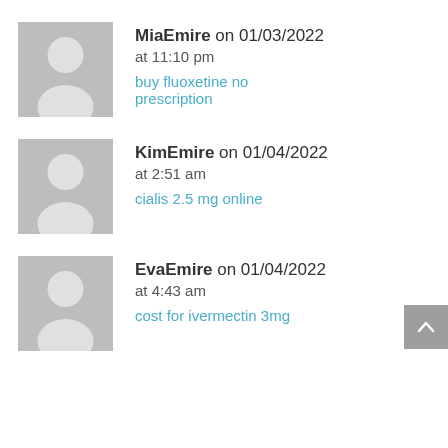MiaEmire on 01/03/2022 at 11:10 pm
buy fluoxetine no prescription
KimEmire on 01/04/2022 at 2:51 am
cialis 2.5 mg online
EvaEmire on 01/04/2022 at 4:43 am
cost for ivermectin 3mg